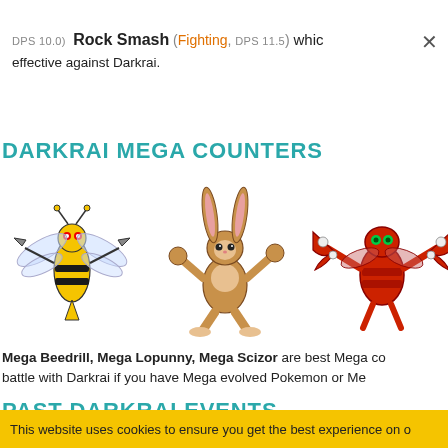DPS 10.0) Rock Smash (Fighting, DPS 11.5) which are effective against Darkrai.
DARKRAI MEGA COUNTERS
[Figure (illustration): Three Mega Pokemon illustrations: Mega Beedrill (yellow/black bee), Mega Lopunny (bipedal rabbit-like with boxing stance), Mega Scizor (red insectoid with claws)]
Mega Beedrill, Mega Lopunny, Mega Scizor are best Mega counters to battle with Darkrai if you have Mega evolved Pokemon or Me...
PAST DARKRAI EVENTS
This website uses cookies to ensure you get the best experience on o...